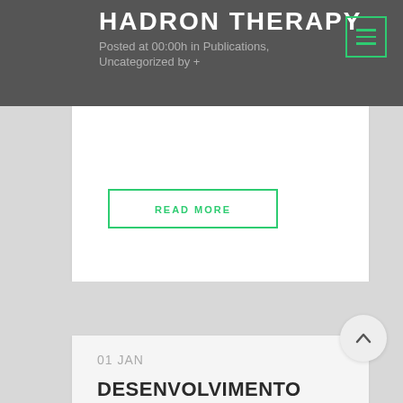HADRON THERAPY
Posted at 00:00h in Publications, Uncategorized by +
READ MORE
01 JAN
DESENVOLVIMENTO DE INTERFACE PESSOAMÁQUINA PARA GERAÇÃO